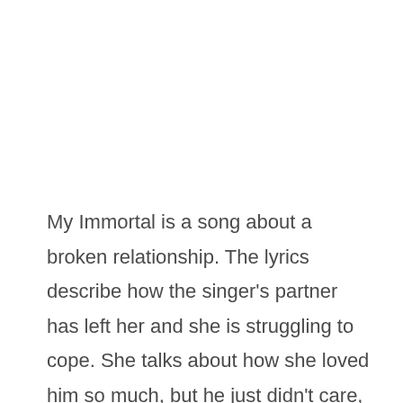My Immortal is a song about a broken relationship. The lyrics describe how the singer's partner has left her and she is struggling to cope. She talks about how she loved him so much, but he just didn't care, and now she's all alone. The song is incredibly moving and the music video adds yet another